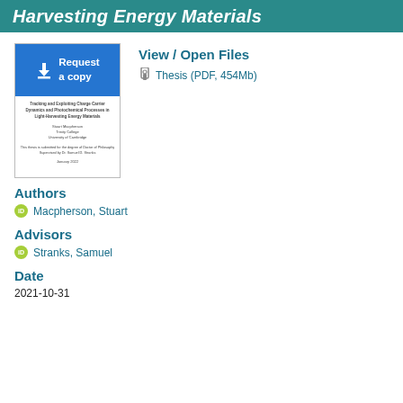Harvesting Energy Materials
[Figure (other): Thumbnail of thesis document with 'Request a copy' blue button overlay]
View / Open Files
Thesis (PDF, 454Mb)
Authors
Macpherson, Stuart
Advisors
Stranks, Samuel
Date
2021-10-31